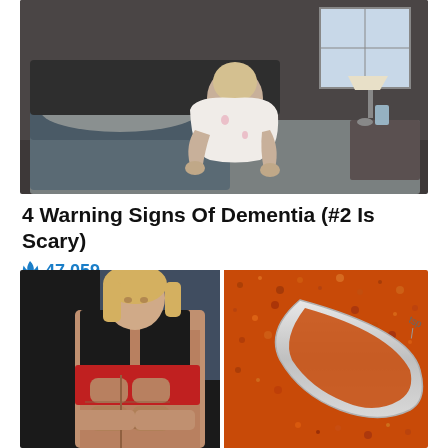[Figure (photo): Elderly person in pajamas sitting on edge of bed, looking downward, in a dimly lit bedroom with a nightstand and lamp visible]
4 Warning Signs Of Dementia (#2 Is Scary)
47,059
[Figure (photo): Split image: left side shows a muscular fit woman in athletic wear lifting her shirt to show abs; right side shows a spoon filled with orange-red spice powder]